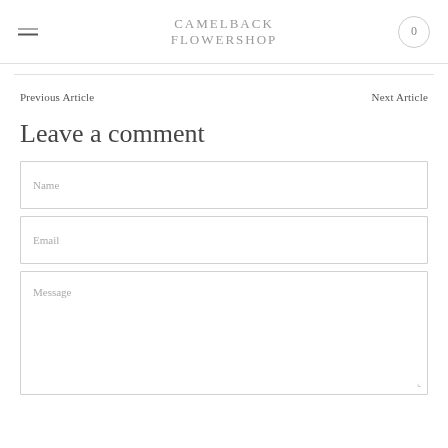CAMELBACK FLOWERSHOP
Previous Article
Next Article
Leave a comment
Name
Email
Message